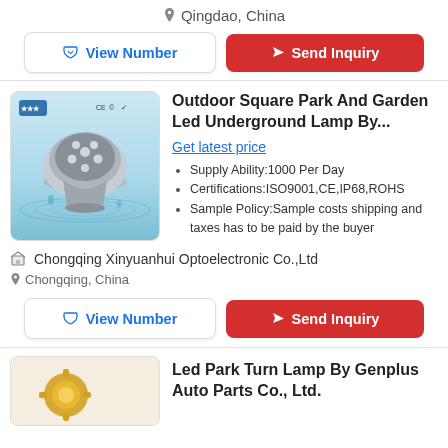Qingdao, China
View Number | Send Inquiry
Outdoor Square Park And Garden Led Underground Lamp By...
Get latest price
Supply Ability: 1000 Per Day
Certifications: ISO9001,CE,IP68,ROHS
Sample Policy: Sample costs shipping and taxes has to be paid by the buyer
Chongqing Xinyuanhui Optoelectronic Co.,Ltd
Chongqing, China
View Number | Send Inquiry
Led Park Turn Lamp By Genplus Auto Parts Co., Ltd.